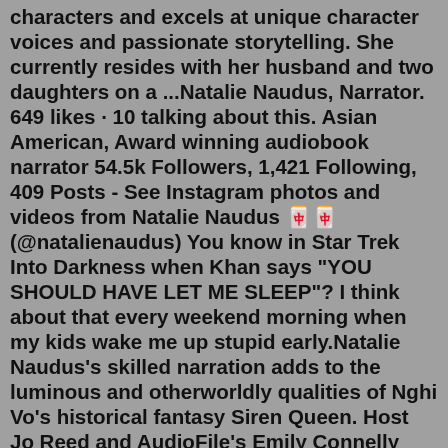characters and excels at unique character voices and passionate storytelling. She currently resides with her husband and two daughters on a ...Natalie Naudus, Narrator. 649 likes · 10 talking about this. Asian American, Award winning audiobook narrator 54.5k Followers, 1,421 Following, 409 Posts - See Instagram photos and videos from Natalie Naudus 🀄🀄 (@natalienaudus) You know in Star Trek Into Darkness when Khan says "YOU SHOULD HAVE LET ME SLEEP"? I think about that every weekend morning when my kids wake me up stupid early.Natalie Naudus's skilled narration adds to the luminous and otherworldly qualities of Nghi Vo's historical fantasy Siren Queen. Host Jo Reed and AudioFile's Emily Connelly discuss this absorbing story of ambition, glamor, and power in old Hollywood—except here, it's full of magic. To succeed, actors must make dangerous pacts, trade ...original sound - Natalie Naudus. It looked like you were so close to laughing. never give up, never surrender. captain. Kids been in school 3 days. figure